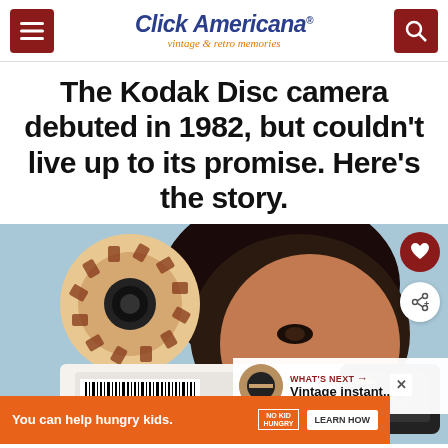Click Americana® vintage & retro memories
The Kodak Disc camera debuted in 1982, but couldn't live up to its promise. Here's the story.
[Figure (photo): A woman holding a Kodak Disc camera up to her face, with the circular film disc visible. Vintage promotional photo with a light blue background. Includes 'WHAT'S NEXT' teaser box for 'Vintage instant...' and an advertisement bar: 'You can help hungry kids. NO KID HUNGRY LEARN HOW']